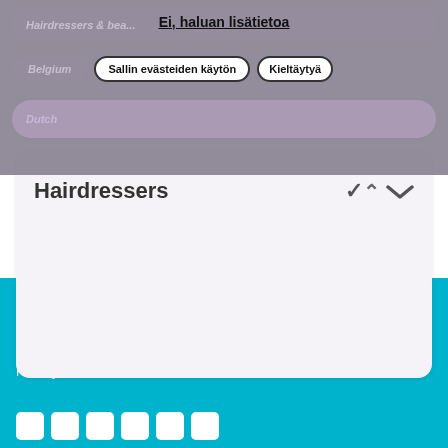Ei, haluan lisätietoa
Hairdressers & bea...
Belgium
Sallin evästeiden käytön
Kieltäytyä
Dutch
Hairdressers
© 2021 EU-OSHA | Euroopan unionin virasto
Sivukartta | Ota meihin yhteyttä | Esteettömyys | Tietosuojakäytäntö | Oikeudellinen huomautus | RSS-syötteet